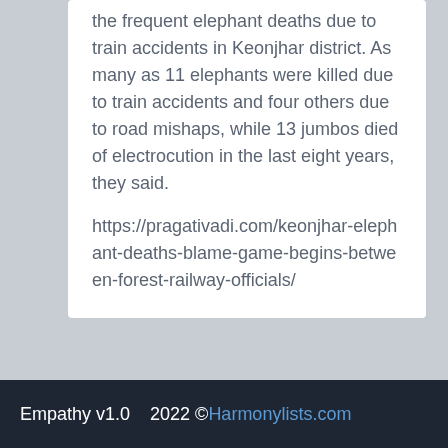the frequent elephant deaths due to train accidents in Keonjhar district. As many as 11 elephants were killed due to train accidents and four others due to road mishaps, while 13 jumbos died of electrocution in the last eight years, they said.
https://pragativadi.com/keonjhar-elephant-deaths-blame-game-begins-between-forest-railway-officials/
Empathy v1.0    2022 ©Harmonylists.com